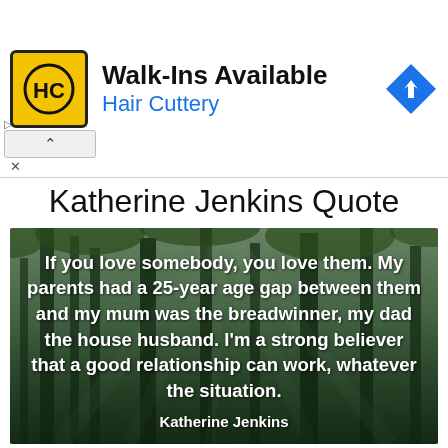[Figure (infographic): Hair Cuttery advertisement banner. Yellow square logo with HC monogram, text 'Walk-Ins Available' and 'Hair Cuttery' in blue, blue diamond navigation arrow icon on right. Collapse chevron and X below on left.]
Katherine Jenkins Quote
[Figure (photo): Quote card with forest/bamboo background photo (looking up through tall trees with green canopy and rays of light). White bold text reads: 'If you love somebody, you love them. My parents had a 25-year age gap between them and my mum was the breadwinner, my dad the house husband. I'm a strong believer that a good relationship can work, whatever the situation.' Attribution below: 'Katherine Jenkins']